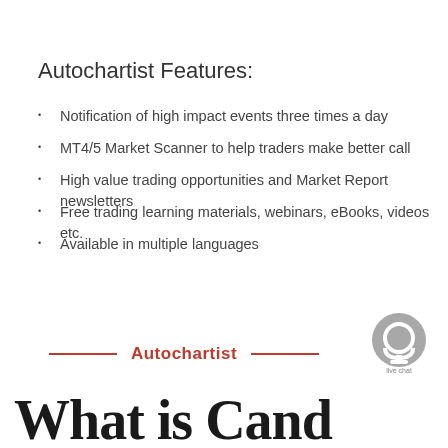Autochartist Features:
Notification of high impact events three times a day
MT4/5 Market Scanner to help traders make better call
High value trading opportunities and Market Report newsletters
Free trading learning materials, webinars, eBooks, videos etc.
Available in multiple languages
[Figure (logo): Live chat headset icon with 'live chat' label, gray circular badge]
Autochartist
What is Cand...